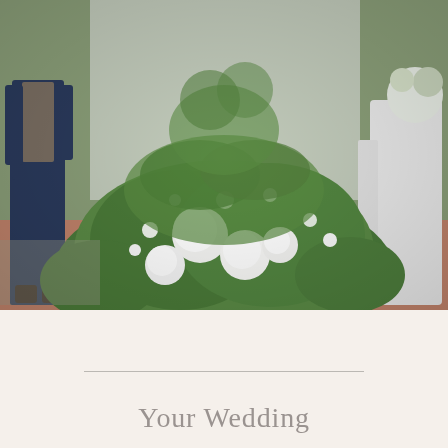[Figure (photo): Wedding photo showing a groom in a navy suit on the left and a bride in a white flowing dress on the right, standing in front of a lush floral arrangement of white flowers and green foliage against a light-colored wall with a brick patio in the foreground.]
Your Wedding